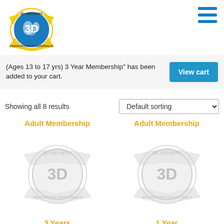[Figure (logo): 3D Archery Association of Australia circular logo with yellow ribbon and globe]
[Figure (infographic): Hamburger menu icon with three blue horizontal bars]
(Ages 13 to 17 yrs) 3 Year Membership" has been added to your cart.
View cart
Showing all 8 results
Default sorting
Adult Membership
[Figure (logo): 3D Archery Association of Australia watermark badge - grey/light]
3 Years
Adult 3 Year Membership (Age 18 yrs and older)
Adult Membership
[Figure (logo): 3D Archery Association of Australia watermark badge - grey/light]
1 Year
Adult 1 Year Membership (Age – 18 years and older)